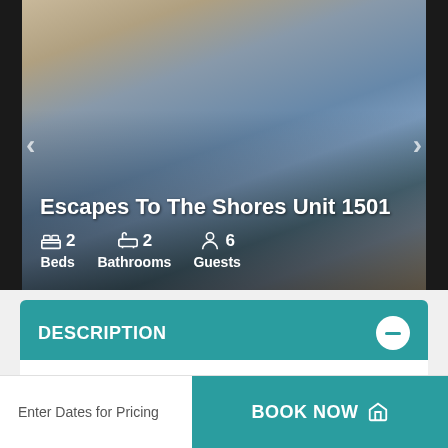[Figure (photo): Interior photo of beachfront condominium living room with ocean view windows, blue sofas, and coastal decor. Navigation arrows on left and right sides.]
Escapes To The Shores Unit 1501
2 Beds  2 Bathrooms  6 Guests
DESCRIPTION
Welcome to Escapes To The Shores Beachfront Condominiums. This 2b | 2b condo is located in the heart of Orange Beach, Alabama amid many Restaurants and Family-Friendly Attractions. There have been many upgrades for 2022. With it's many Resort-Style Amenities, you will not be disappointed with this level of luxury and
Enter Dates for Pricing
BOOK NOW